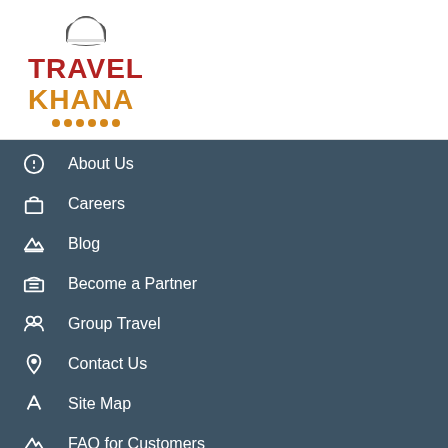[Figure (logo): Travel Khana logo with chef hat icon and decorative dots]
About Us
Careers
Blog
Become a Partner
Group Travel
Contact Us
Site Map
FAQ for Customers
FAQ for Restaurant Partners
Request CallBack
Order Food